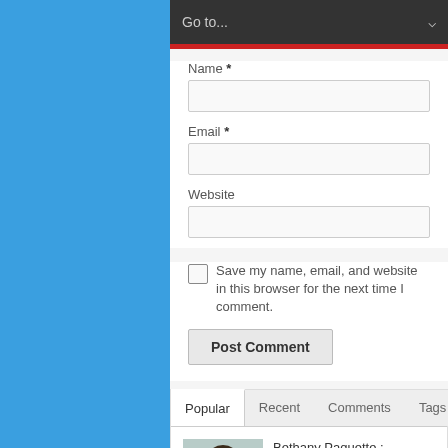[Figure (screenshot): Navigation dropdown bar with 'Go to...' text and arrow on dark background]
Name *
[Figure (screenshot): Text input field for Name]
Email *
[Figure (screenshot): Text input field for Email]
Website
[Figure (screenshot): Text input field for Website]
Save my name, email, and website in this browser for the next time I comment.
Post Comment
Popular   Recent   Comments   Tags
Bethany Paquette : Christian claims to be victim of ‘viking discrimination’ (Video)
Oct 11, 2014